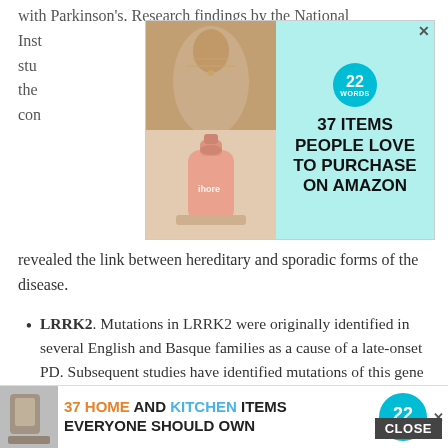with Parkinson's. Research findings by the National Institute... study... related to the... PD con...
[Figure (other): Advertisement banner: 37 ITEMS PEOPLE LOVE TO PURCHASE ON AMAZON, with jewelry and soap dispenser images, 22 Words badge]
revealed the link between hereditary and sporadic forms of the disease.
LRRK2. Mutations in LRRK2 were originally identified in several English and Basque families as a cause of a late-onset PD. Subsequent studies have identified mutations of this gene in other families with PD as well as in a small percentage of people with apparently sporadic PD. LRRK2 mutations are a major cause of PD in North Africa and the Middle East.
DJ-1. This gene normally helps regulate gene activity and pro... are, earl...
[Figure (other): Bottom advertisement banner: 37 HOME AND KITCHEN ITEMS EVERYONE SHOULD OWN, 22 Words badge, with CLOSE button overlay]